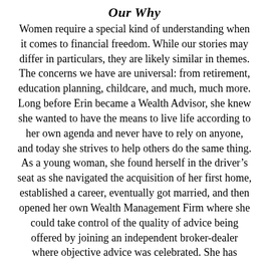Our Why
Women require a special kind of understanding when it comes to financial freedom. While our stories may differ in particulars, they are likely similar in themes. The concerns we have are universal: from retirement, education planning, childcare, and much, much more. Long before Erin became a Wealth Advisor, she knew she wanted to have the means to live life according to her own agenda and never have to rely on anyone, and today she strives to help others do the same thing. As a young woman, she found herself in the driver's seat as she navigated the acquisition of her first home, established a career, eventually got married, and then opened her own Wealth Management Firm where she could take control of the quality of advice being offered by joining an independent broker-dealer where objective advice was celebrated. She has